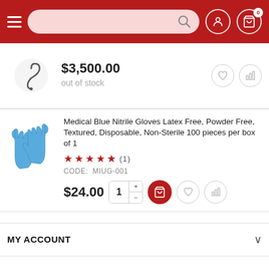Navigation header with hamburger menu, search bar, user icon, and cart icon (0 items)
$3,500.00  out of stock
Medical Blue Nitrile Gloves Latex Free, Powder Free, Textured, Disposable, Non-Sterile 100 pieces per box of 1
★★★★★ (1)
CODE: MIUG-001
$24.00
MY ACCOUNT
COMPANY
CUSTOMER SERVICE